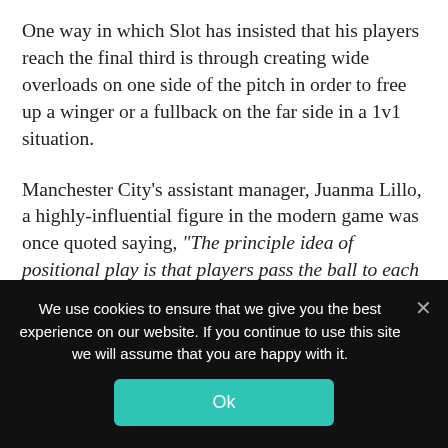One way in which Slot has insisted that his players reach the final third is through creating wide overloads on one side of the pitch in order to free up a winger or a fullback on the far side in a 1v1 situation.
Manchester City's assistant manager, Juanma Lillo, a highly-influential figure in the modern game was once quoted saying, “The principle idea of positional play is that players pass the ball to each other in close spaces to be able to pass to a wide-open man.”
Slot certainly adheres to the principles of
We use cookies to ensure that we give you the best experience on our website. If you continue to use this site we will assume that you are happy with it.
Ok